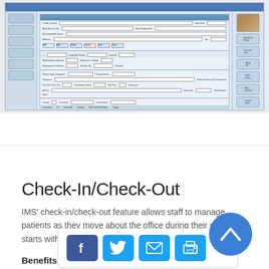[Figure (screenshot): Screenshot of a medical practice management software (IMS) showing patient check-in/check-out interface with form fields, navigation icons, patient photo, and toolbar buttons]
Check-In/Check-Out
IMS' check-in/check-out feature allows staff to manage patients as they move about the office during their visit. It starts with the ini... ...ck out.
Benefits